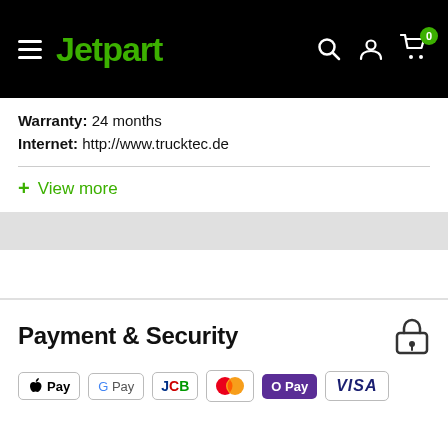Jetpart
Warranty: 24 months
Internet: http://www.trucktec.de
+ View more
Payment & Security
[Figure (logo): Payment method logos: Apple Pay, Google Pay, JCB, Mastercard, OPay, VISA]